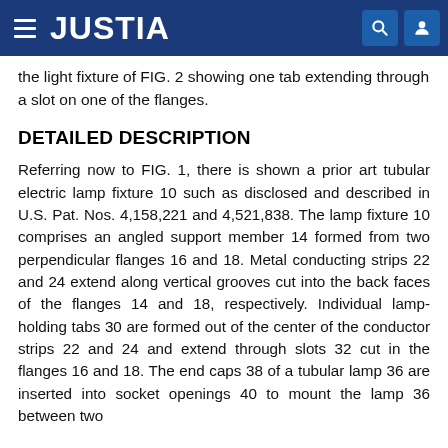JUSTIA
the light fixture of FIG. 2 showing one tab extending through a slot on one of the flanges.
DETAILED DESCRIPTION
Referring now to FIG. 1, there is shown a prior art tubular electric lamp fixture 10 such as disclosed and described in U.S. Pat. Nos. 4,158,221 and 4,521,838. The lamp fixture 10 comprises an angled support member 14 formed from two perpendicular flanges 16 and 18. Metal conducting strips 22 and 24 extend along vertical grooves cut into the back faces of the flanges 14 and 18, respectively. Individual lamp-holding tabs 30 are formed out of the center of the conductor strips 22 and 24 and extend through slots 32 cut in the flanges 16 and 18. The end caps 38 of a tubular lamp 36 are inserted into socket openings 40 to mount the lamp 36 between two